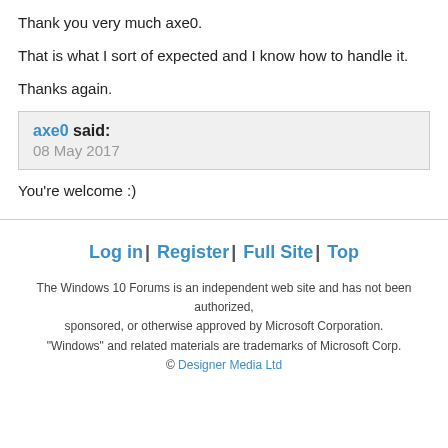Thank you very much axe0.
That is what I sort of expected and I know how to handle it.
Thanks again.
axe0 said:
08 May 2017
You're welcome :)
Log in | Register | Full Site | Top
The Windows 10 Forums is an independent web site and has not been authorized, sponsored, or otherwise approved by Microsoft Corporation. "Windows" and related materials are trademarks of Microsoft Corp. © Designer Media Ltd